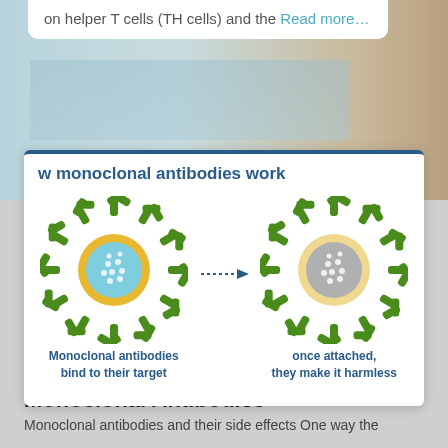on helper T cells (TH cells) and the Read more…
[Figure (infographic): Diagram showing how monoclonal antibodies work. Left: a blue circular virus/cell with yellow spike proteins and green Y-shaped antibodies binding around it, labeled 'Monoclonal antibodies bind to their target'. A dotted arrow points right to: a grey circular cell with yellow spikes and green antibodies, labeled 'once attached, they make it harmless'.]
w monoclonal antibodies work
Monoclonal antibodies bind to their target
once attached, they make it harmless
BLOG
Monoclonal Antibodies
Monoclonal antibodies and their side effects One way the